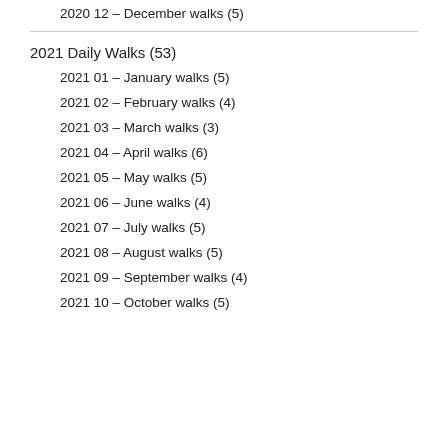2020 12 – December walks (5)
2021 Daily Walks (53)
2021 01 – January walks (5)
2021 02 – February walks (4)
2021 03 – March walks (3)
2021 04 – April walks (6)
2021 05 – May walks (5)
2021 06 – June walks (4)
2021 07 – July walks (5)
2021 08 – August walks (5)
2021 09 – September walks (4)
2021 10 – October walks (5)